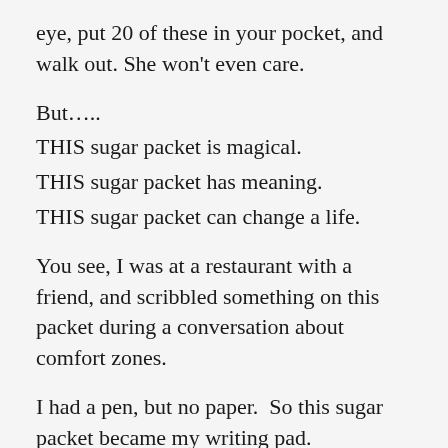eye, put 20 of these in your pocket, and walk out. She won't even care.
But…..
THIS sugar packet is magical.
THIS sugar packet has meaning.
THIS sugar packet can change a life.
You see, I was at a restaurant with a friend, and scribbled something on this packet during a conversation about comfort zones.
I had a pen, but no paper.  So this sugar packet became my writing pad.